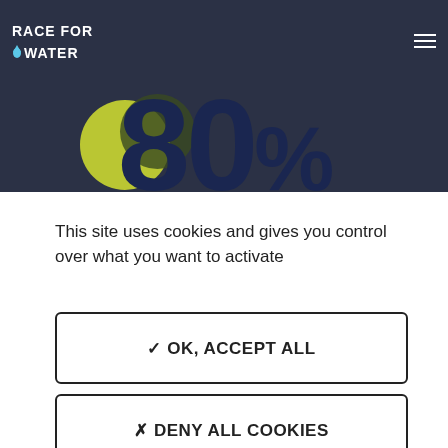RACE FOR WATER
[Figure (screenshot): Large dark blue numbers '80%' partially visible in the hero area background, with yellow and dark green overlapping circles on the left]
This site uses cookies and gives you control over what you want to activate
✓ OK, ACCEPT ALL
✗ DENY ALL COOKIES
PERSONALIZE
PRIVACY POLICY